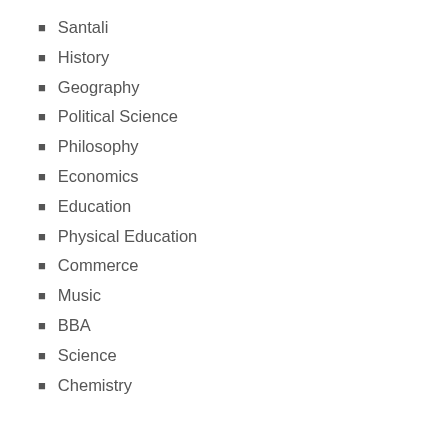Santali
History
Geography
Political Science
Philosophy
Economics
Education
Physical Education
Commerce
Music
BBA
Science
Chemistry